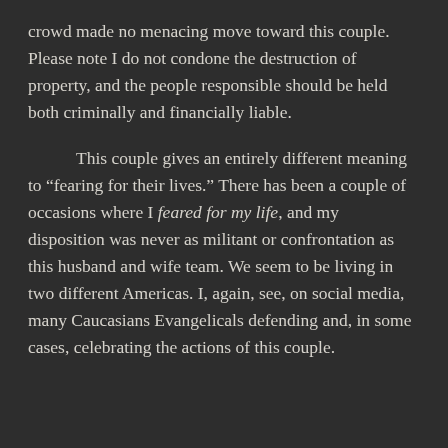crowd made no menacing move toward this couple. Please note I do not condone the destruction of property, and the people responsible should be held both criminally and financially liable.

This couple gives an entirely different meaning to “fearing for their lives.” There has been a couple of occasions where I feared for my life, and my disposition was never as militant or confrontation as this husband and wife team. We seem to be living in two different Americas. I, again, see, on social media, many Caucasians Evangelicals defending and, in some cases, celebrating the actions of this couple.